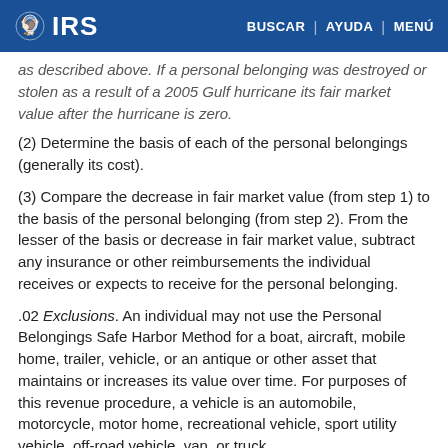IRS | BUSCAR | AYUDA | MENÚ
as described above. If a personal belonging was destroyed or stolen as a result of a 2005 Gulf hurricane its fair market value after the hurricane is zero.
(2) Determine the basis of each of the personal belongings (generally its cost).
(3) Compare the decrease in fair market value (from step 1) to the basis of the personal belonging (from step 2). From the lesser of the basis or decrease in fair market value, subtract any insurance or other reimbursements the individual receives or expects to receive for the personal belonging.
.02 Exclusions. An individual may not use the Personal Belongings Safe Harbor Method for a boat, aircraft, mobile home, trailer, vehicle, or an antique or other asset that maintains or increases its value over time. For purposes of this revenue procedure, a vehicle is an automobile, motorcycle, motor home, recreational vehicle, sport utility vehicle, off-road vehicle, van, or truck.